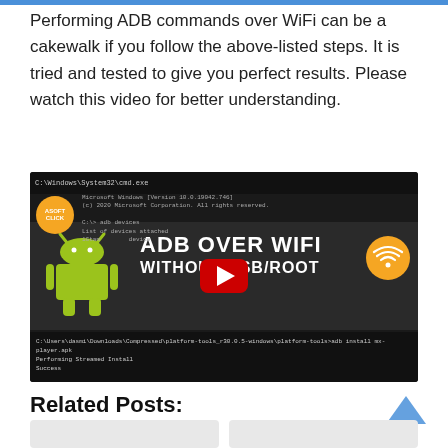Performing ADB commands over WiFi can be a cakewalk if you follow the above-listed steps. It is tried and tested to give you perfect results. Please watch this video for better understanding.
[Figure (screenshot): YouTube video thumbnail showing 'How to Connect ADB over WiFi' with Android robot logo, ADB OVER WIFI WITHOUT USB/ROOT text, YouTube play button, and WiFi icon. Shows command prompt windows above and below.]
Related Posts: